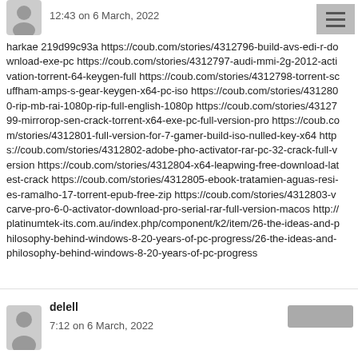12:43 on 6 March, 2022
harkae 219d99c93a https://coub.com/stories/4312796-build-avs-edi-r-download-exe-pc https://coub.com/stories/4312797-audi-mmi-2g-2012-activation-torrent-64-keygen-full https://coub.com/stories/4312798-torrent-scuffham-amps-s-gear-keygen-x64-pc-iso https://coub.com/stories/4312800-rip-mb-rai-1080p-rip-full-english-1080p https://coub.com/stories/4312799-mirrorop-sen-crack-torrent-x64-exe-pc-full-version-pro https://coub.com/stories/4312801-full-version-for-7-gamer-build-iso-nulled-key-x64 https://coub.com/stories/4312802-adobe-pho-activator-rar-pc-32-crack-full-version https://coub.com/stories/4312804-x64-leapwing-free-download-latest-crack https://coub.com/stories/4312805-ebook-tratamien-aguas-resi-es-ramalho-17-torrent-epub-free-zip https://coub.com/stories/4312803-vcarve-pro-6-0-activator-download-pro-serial-rar-full-version-macos http://platinumtek-its.com.au/index.php/component/k2/item/26-the-ideas-and-philosophy-behind-windows-8-20-years-of-pc-progress/26-the-ideas-and-philosophy-behind-windows-8-20-years-of-pc-progress
delell
7:12 on 6 March, 2022